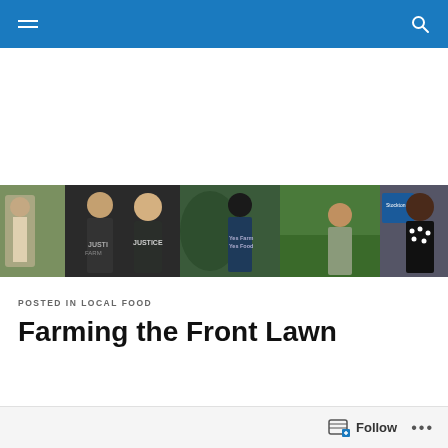Navigation bar with menu and search icons
[Figure (photo): A collage of seven photos showing farmers and food justice workers in outdoor and agricultural settings. People wearing shirts with text including 'JUSTICE' and 'Yes Farm Yes Food'. Includes scenes of gardening, produce, and a blue sign.]
POSTED IN LOCAL FOOD
Farming the Front Lawn
Follow ...